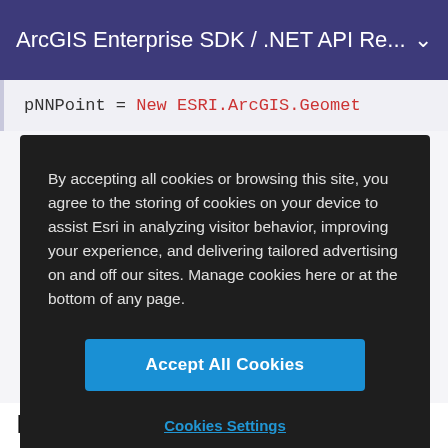ArcGIS Enterprise SDK / .NET API Re...
pNNPoint = New ESRI.ArcGIS.Geomet
By accepting all cookies or browsing this site, you agree to the storing of cookies on your device to assist Esri in analyzing visitor behavior, improving your experience, and delivering tailored advertising on and off our sites. Manage cookies here or at the bottom of any page.
Accept All Cookies
Cookies Settings
IPoint.ID Property